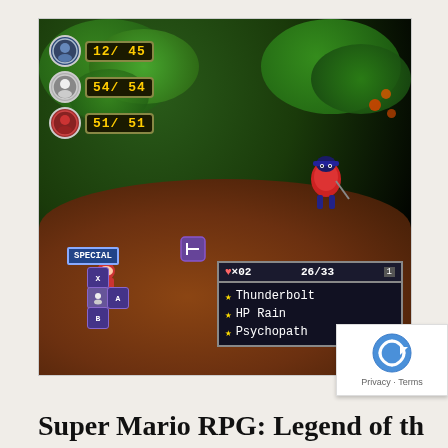[Figure (screenshot): Super Mario RPG: Legend of the Seven Stars SNES battle scene screenshot. Shows a forest battle environment with HP bars displaying '12/ 45', '54/ 54', and '51/ 51' for three party members. A special move menu (SPECIAL) is shown with button layout (X, A, B) and a skills list box showing 'FPx02 26/33' with options: Thunderbolt, HP Rain, Psychopath.]
Super Mario RPG: Legend of th